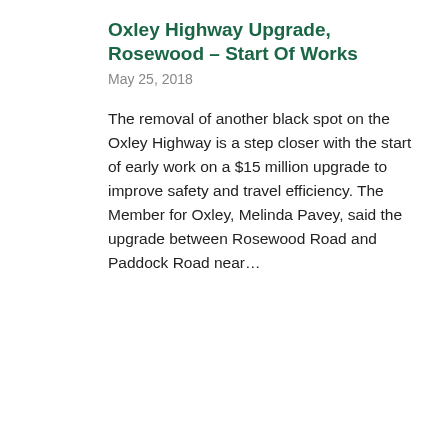Oxley Highway Upgrade, Rosewood – Start Of Works
May 25, 2018
The removal of another black spot on the Oxley Highway is a step closer with the start of early work on a $15 million upgrade to improve safety and travel efficiency. The Member for Oxley, Melinda Pavey, said the upgrade between Rosewood Road and Paddock Road near…